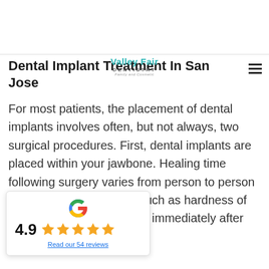Dental Implant Treatment In San Jose
[Figure (logo): Valley Fair Dentistry logo with teal text reading 'Valley Fair' over 'DENTISTRY' and tagline 'Family and Cosmetic']
For most patients, the placement of dental implants involves often, but not always, two surgical procedures. First, dental implants are placed within your jawbone. Healing time following surgery varies from person to person and is based on factors, such as hardness of bone, dental implants may immediately after they are placed.
[Figure (infographic): Google review widget showing 4.9 star rating with 5 gold stars and a link to 'Read our 54 reviews']